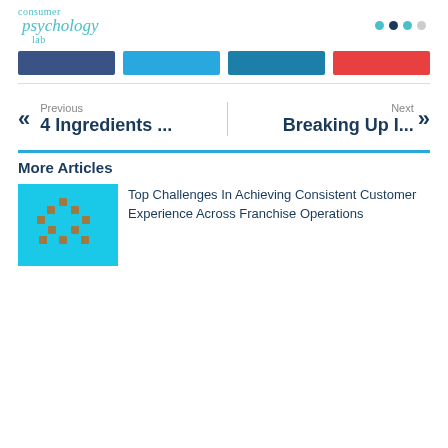[Figure (logo): Consumer Psychology Lab logo in teal italic script]
[Figure (infographic): Navigation dots: teal, navy, teal, gray]
[Figure (infographic): Navigation bar with four colored buttons: navy, light blue, dark blue, red]
Previous
4 Ingredients ...
Next
Breaking Up I...
More Articles
[Figure (photo): Blue background with scattered small brown square components arranged in a V/arrow pattern]
Top Challenges In Achieving Consistent Customer Experience Across Franchise Operations